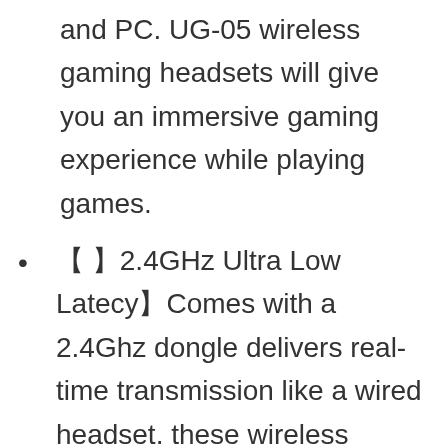and PC. UG-05 wireless gaming headsets will give you an immersive gaming experience while playing games.
【 】2.4GHz Ultra Low Latecy】Comes with a 2.4Ghz dongle delivers real-time transmission like a wired headset. these wireless gaming headphones could provide instant transmission, which means that you won't feel any lag while playing games or chatting with your teammate. Up to 15M(50ft) connection range allows you to walk